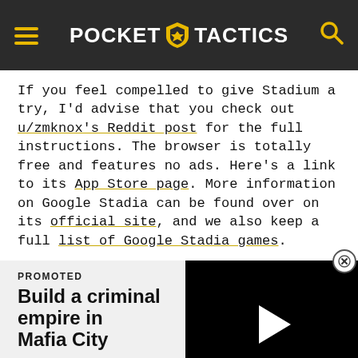POCKET TACTICS
If you feel compelled to give Stadium a try, I'd advise that you check out u/zmknox's Reddit post for the full instructions. The browser is totally free and features no ads. Here's a link to its App Store page. More information on Google Stadia can be found over on its official site, and we also keep a full list of Google Stadia games.
PROMOTED
Build a criminal empire in Mafia City
In Mafia City you find yo...
[Figure (screenshot): Video player overlay showing black background with white play button triangle, and a close (X) button in top right corner]